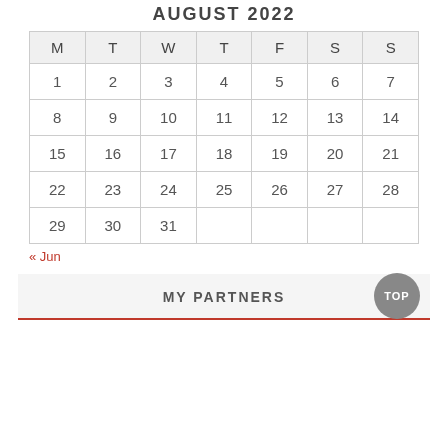AUGUST 2022
| M | T | W | T | F | S | S |
| --- | --- | --- | --- | --- | --- | --- |
| 1 | 2 | 3 | 4 | 5 | 6 | 7 |
| 8 | 9 | 10 | 11 | 12 | 13 | 14 |
| 15 | 16 | 17 | 18 | 19 | 20 | 21 |
| 22 | 23 | 24 | 25 | 26 | 27 | 28 |
| 29 | 30 | 31 |  |  |  |  |
« Jun
MY PARTNERS